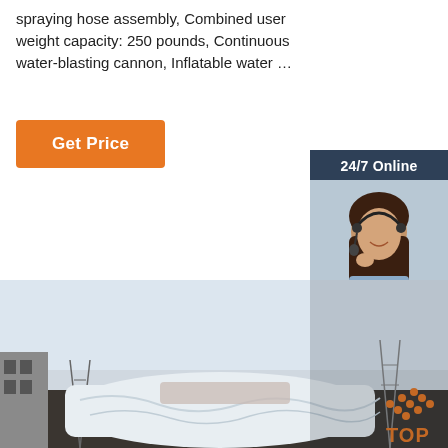spraying hose assembly, Combined user weight capacity: 250 pounds, Continuous water-blasting cannon, Inflatable water …
[Figure (other): Orange 'Get Price' button]
[Figure (other): Sidebar with '24/7 Online' header, customer service representative photo, 'Click here for free chat!' text, and orange 'QUOTATION' button]
[Figure (photo): Product photo showing a large white inflatable structure covered with white fabric/tarpaulin outdoors, with industrial buildings and electricity pylons in background. Orange dots and 'TOP' text visible in bottom right corner.]